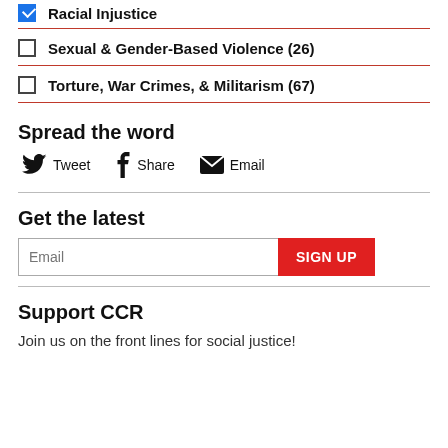Racial Injustice (checked)
Sexual & Gender-Based Violence (26)
Torture, War Crimes, & Militarism (67)
Spread the word
Tweet  Share  Email
Get the latest
Email [input field] SIGN UP
Support CCR
Join us on the front lines for social justice!